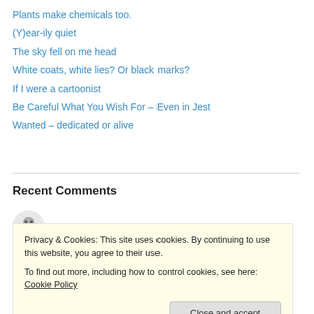Plants make chemicals too.
(Y)ear-ily quiet
The sky fell on me head
White coats, white lies? Or black marks?
If I were a cartoonist
Be Careful What You Wish For – Even in Jest
Wanted – dedicated or alive
Recent Comments
draust on The sky fell on me head
Privacy & Cookies: This site uses cookies. By continuing to use this website, you agree to their use.
To find out more, including how to control cookies, see here: Cookie Policy
Close and accept